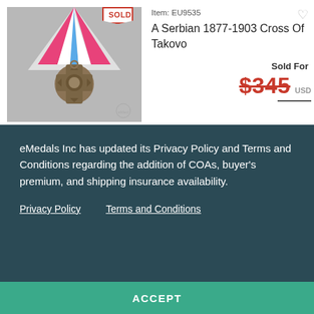[Figure (photo): A Serbian 1877-1903 Cross of Takovo medal with pink/red, white, and blue striped ribbon, bronze cross medallion, shown hanging. A 'SOLD' banner overlays top right corner of image.]
Item: EU9535
A Serbian 1877-1903 Cross Of Takovo
Sold For
$345 USD
eMedals Inc has updated its Privacy Policy and Terms and Conditions regarding the addition of COAs, buyer's premium, and shipping insurance availability.
Privacy Policy
Terms and Conditions
ACCEPT